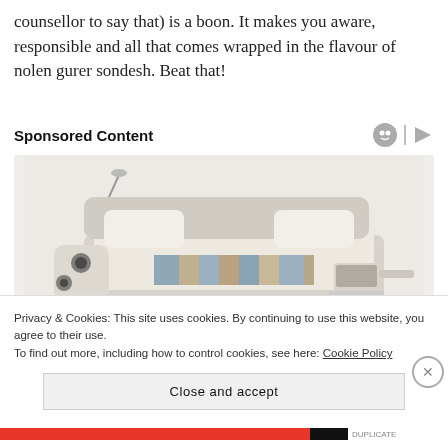counsellor to say that) is a boon. It makes you aware, responsible and all that comes wrapped in the flavour of nolen gurer sondesh. Beat that!
Sponsored Content
[Figure (photo): Advertisement photo of a luxury smart bed/sofa with speakers and accessories]
Privacy & Cookies: This site uses cookies. By continuing to use this website, you agree to their use.
To find out more, including how to control cookies, see here: Cookie Policy
Close and accept